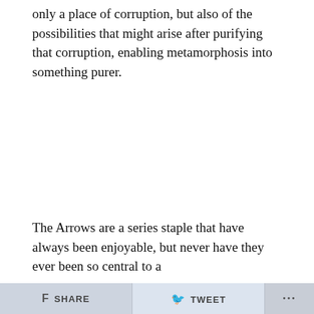only a place of corruption, but also of the possibilities that might arise after purifying that corruption, enabling metamorphosis into something purer.
The Arrows are a series staple that have always been enjoyable, but never have they ever been so central to a
SHARE   TWEET   ...